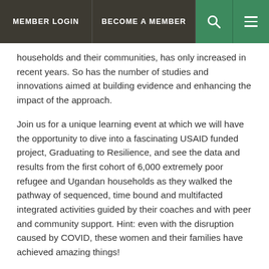MEMBER LOGIN | BECOME A MEMBER
households and their communities, has only increased in recent years. So has the number of studies and innovations aimed at building evidence and enhancing the impact of the approach.
Join us for a unique learning event at which we will have the opportunity to dive into a fascinating USAID funded project, Graduating to Resilience, and see the data and results from the first cohort of 6,000 extremely poor refugee and Ugandan households as they walked the pathway of sequenced, time bound and multifacted integrated activities guided by their coaches and with peer and community support. Hint: even with the disruption caused by COVID, these women and their families have achieved amazing things!
We will hear from and interact with the implementers–AVSI Foundation, with partners Trickle Up and American Institutes for Reserch – who will share monitoring results including the customized Graduation Critiera measurements, and the external evalulator—Innovations for Poverty Action